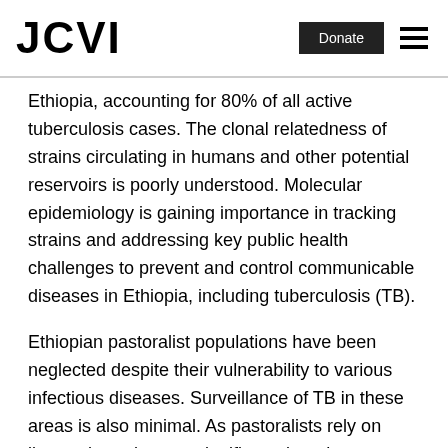JCVI | Donate
Ethiopia, accounting for 80% of all active tuberculosis cases. The clonal relatedness of strains circulating in humans and other potential reservoirs is poorly understood. Molecular epidemiology is gaining importance in tracking strains and addressing key public health challenges to prevent and control communicable diseases in Ethiopia, including tuberculosis (TB).
Ethiopian pastoralist populations have been neglected despite their vulnerability to various infectious diseases. Surveillance of TB in these areas is also minimal. As pastoralists rely on livestock products, a significant, largely unexplored challenge is the potentially high level of transmission of tuberculosis between livestock and people. There is currently no effective vaccine protecting humans against TB.
The Bacillus Calmette Guerin (BCG) vaccine consisting of